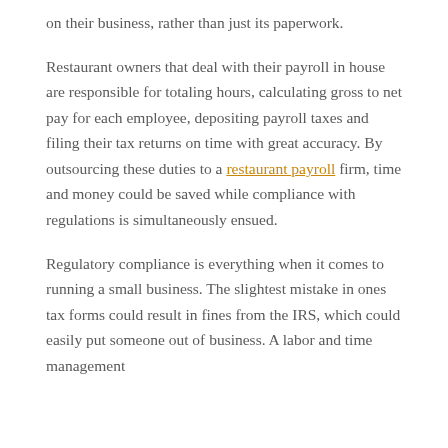on their business, rather than just its paperwork.
Restaurant owners that deal with their payroll in house are responsible for totaling hours, calculating gross to net pay for each employee, depositing payroll taxes and filing their tax returns on time with great accuracy. By outsourcing these duties to a restaurant payroll firm, time and money could be saved while compliance with regulations is simultaneously ensued.
Regulatory compliance is everything when it comes to running a small business. The slightest mistake in ones tax forms could result in fines from the IRS, which could easily put someone out of business. A labor and time management